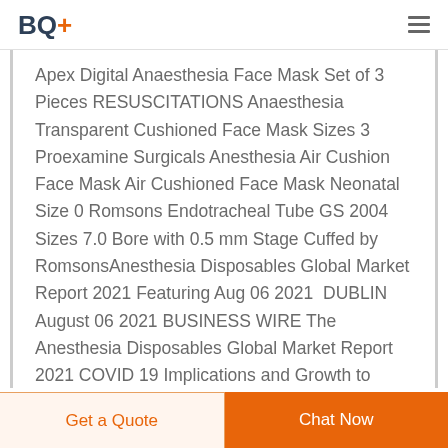BQ+
Apex Digital Anaesthesia Face Mask Set of 3 Pieces RESUSCITATIONS Anaesthesia Transparent Cushioned Face Mask Sizes 3 Proexamine Surgicals Anesthesia Air Cushion Face Mask Air Cushioned Face Mask Neonatal Size 0 Romsons Endotracheal Tube GS 2004 Sizes 7.0 Bore with 0.5 mm Stage Cuffed by RomsonsAnesthesia Disposables Global Market Report 2021 Featuring Aug 06 2021  DUBLIN August 06 2021 BUSINESS WIRE The Anesthesia Disposables Global Market Report 2021 COVID 19 Implications and Growth to 2030 report has been added to ResearchAndMarkets s offering. The global
Get a Quote
Chat Now